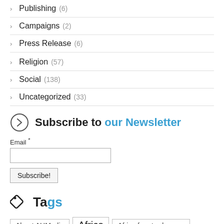Publishing (6)
Campaigns (2)
Press Release (6)
Religion (57)
Social (138)
Uncategorized (33)
Subscribe to our Newsletter
Email *
Tags
About AUMedia  Africa  Africa free trade zone